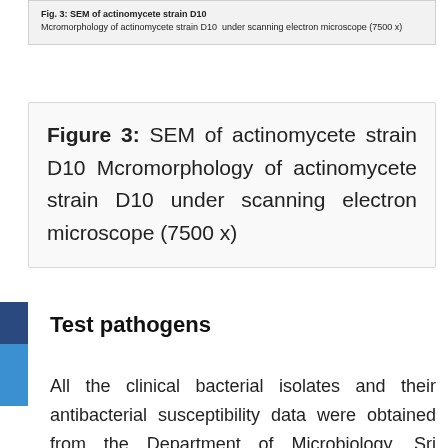Fig. 3: SEM of actinomycete strain D10 Mcromorphology of actinomycete strain D10 under scanning electron microscope (7500 x)
Figure 3: SEM of actinomycete strain D10 Mcromorphology of actinomycete strain D10 under scanning electron microscope (7500 x)
Test pathogens
All the clinical bacterial isolates and their antibacterial susceptibility data were obtained from the Department of Microbiology, Sri Sankara Arts and Science College, Kanchipuram. The MRSA strain was resistant to penicillin, methicillin and vancomycin; and the VRSA strain was resistant to